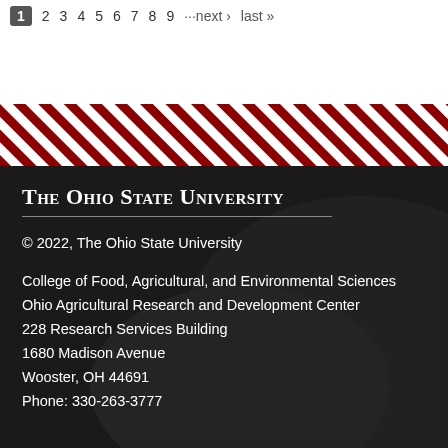1 2 3 4 5 6 7 8 9 ···next › last »
[Figure (illustration): Diagonal red and white stripe decorative band]
The Ohio State University
© 2022, The Ohio State University
College of Food, Agricultural, and Environmental Sciences
Ohio Agricultural Research and Development Center
228 Research Services Building
1680 Madison Avenue
Wooster, OH 44691
Phone: 330-263-3777